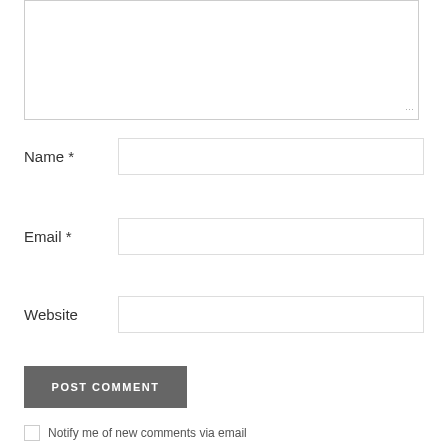[Figure (screenshot): Text area input box with resize handle at bottom right]
Name *
[Figure (screenshot): Name input text field]
Email *
[Figure (screenshot): Email input text field]
Website
[Figure (screenshot): Website input text field]
POST COMMENT
Notify me of new comments via email